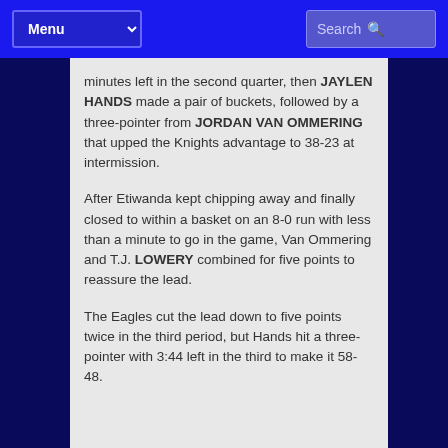Menu | Search
minutes left in the second quarter, then JAYLEN HANDS made a pair of buckets, followed by a three-pointer from JORDAN VAN OMMERING that upped the Knights advantage to 38-23 at intermission.
After Etiwanda kept chipping away and finally closed to within a basket on an 8-0 run with less than a minute to go in the game, Van Ommering and T.J. LOWERY combined for five points to reassure the lead.
The Eagles cut the lead down to five points twice in the third period, but Hands hit a three-pointer with 3:44 left in the third to make it 58-48.